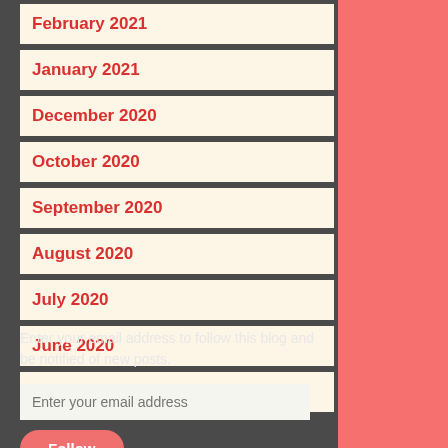February 2021
January 2021
December 2020
October 2020
September 2020
August 2020
July 2020
June 2020
May 2020
Enter your email address to follow this blog and be notified of new posts.
Enter your email address
Follow